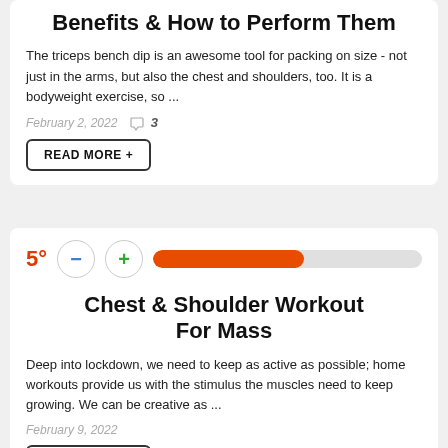Benefits & How to Perform Them
The triceps bench dip is an awesome tool for packing on size - not just in the arms, but also the chest and shoulders, too. It is a bodyweight exercise, so ...
February 2, 2022  3
READ MORE +
[Figure (infographic): Rating selector showing 5 degrees with minus and plus buttons and an orange progress bar filled about 56%]
Chest & Shoulder Workout For Mass
Deep into lockdown, we need to keep as active as possible; home workouts provide us with the stimulus the muscles need to keep growing. We can be creative as ...
February 9, 2022
READ MORE +